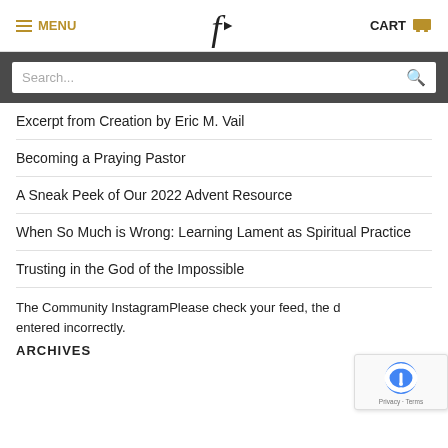MENU [logo f] CART
Search...
Excerpt from Creation by Eric M. Vail
Becoming a Praying Pastor
A Sneak Peek of Our 2022 Advent Resource
When So Much is Wrong: Learning Lament as Spiritual Practice
Trusting in the God of the Impossible
The Community InstagramPlease check your feed, the d entered incorrectly.
ARCHIVES